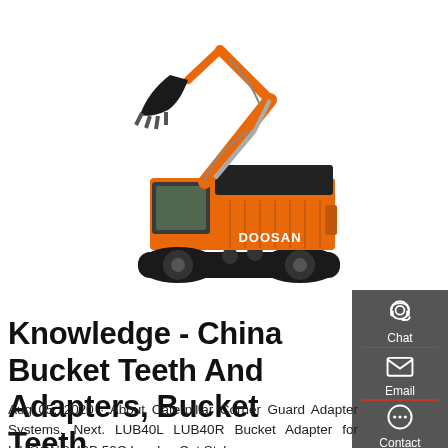[Figure (photo): Orange Doosan tracked excavator with boom raised, on white background]
Knowledge - China Bucket Teeth And Adapters, Bucket Teeth
Aug 05, 2020 · About Caterpillar Corner Guard Adapter Systems. Next. LUB40L LUB40R Bucket Adapter for LIUGONG 40B 50C Loader. Cat Style